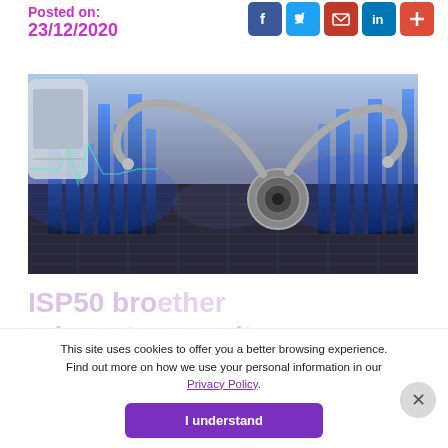Posted on: 23/12/2020
[Figure (photo): Medical stethoscope on financial documents with blue digital city hologram overlay — composite image suggesting health data analytics or medical finance.]
ISP50 bro... ether relevent comunit...
This site uses cookies to offer you a better browsing experience. Find out more on how we use your personal information in our Privacy Policy.
I understand